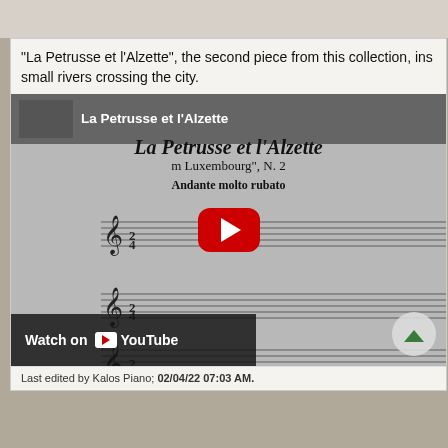"La Petrusse et l'Alzette", the second piece from this collection, ins small rivers crossing the city.
[Figure (screenshot): YouTube video thumbnail showing sheet music for 'La Petrusse et l'Alzette', a piano piece with 'Andante molto rubato' tempo marking. The video overlay includes the title 'La Petrusse et l'Alzette' and a red YouTube play button in the center. A 'Watch on YouTube' bar is shown at the bottom left.]
Last edited by Kalos Piano; 02/04/22 07:03 AM.